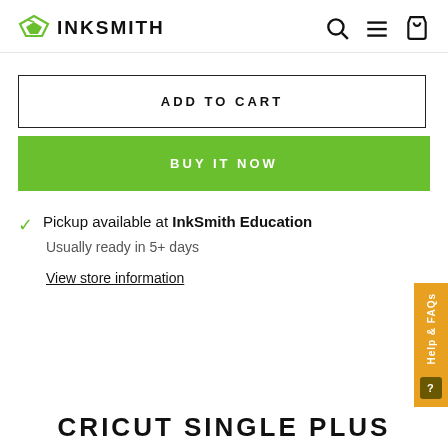INKSMITH
ADD TO CART
BUY IT NOW
Pickup available at InkSmith Education
Usually ready in 5+ days
View store information
CRICUT SINGLE PLUS